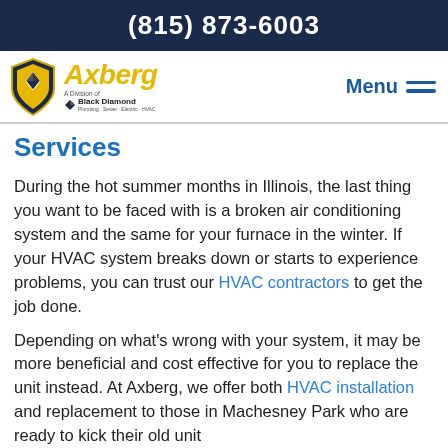(815) 873-6003
[Figure (logo): Axberg A Division of Black Diamond logo with shield icon and script text]
Services
During the hot summer months in Illinois, the last thing you want to be faced with is a broken air conditioning system and the same for your furnace in the winter. If your HVAC system breaks down or starts to experience problems, you can trust our HVAC contractors to get the job done.
Depending on what’s wrong with your system, it may be more beneficial and cost effective for you to replace the unit instead. At Axberg, we offer both HVAC installation and replacement to those in Machesney Park who are ready to kick their old unit